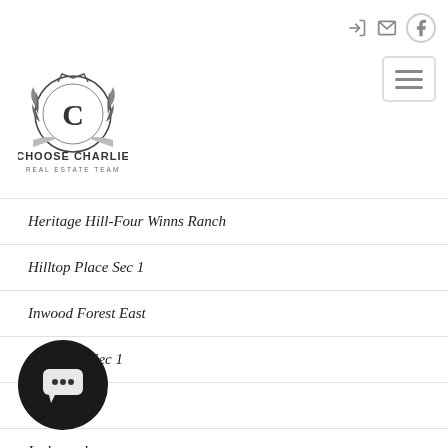[Figure (logo): Choose Charlie Real Estate Team logo — circular crest with letter C]
Heritage Hill-Four Winns Ranch
Hilltop Place Sec 1
Inwood Forest East
Kingsway Sec 1
Lea Acres
Ledgerock
Lost Spgs Sub Sec 1
Lost Spgs Sub Sec 2